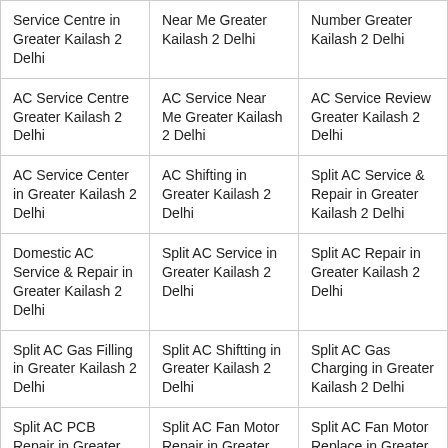| Service Centre in Greater Kailash 2 Delhi | Near Me Greater Kailash 2 Delhi | Number Greater Kailash 2 Delhi |
| AC Service Centre Greater Kailash 2 Delhi | AC Service Near Me Greater Kailash 2 Delhi | AC Service Review Greater Kailash 2 Delhi |
| AC Service Center in Greater Kailash 2 Delhi | AC Shifting in Greater Kailash 2 Delhi | Split AC Service & Repair in Greater Kailash 2 Delhi |
| Domestic AC Service & Repair in Greater Kailash 2 Delhi | Split AC Service in Greater Kailash 2 Delhi | Split AC Repair in Greater Kailash 2 Delhi |
| Split AC Gas Filling in Greater Kailash 2 Delhi | Split AC Shiftting in Greater Kailash 2 Delhi | Split AC Gas Charging in Greater Kailash 2 Delhi |
| Split AC PCB Repair in Greater | Split AC Fan Motor Repair in Greater | Split AC Fan Motor Replace in Greater |